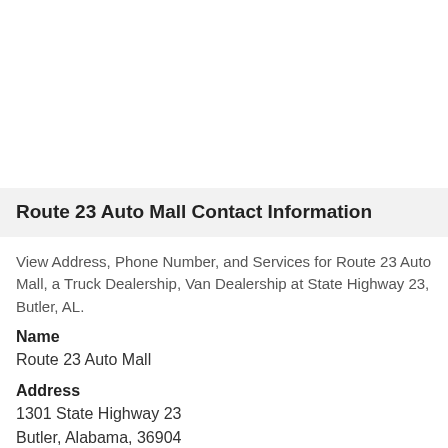Route 23 Auto Mall Contact Information
View Address, Phone Number, and Services for Route 23 Auto Mall, a Truck Dealership, Van Dealership at State Highway 23, Butler, AL.
Name
Route 23 Auto Mall
Address
1301 State Highway 23
Butler, Alabama, 36904
Phone
973-838-0800